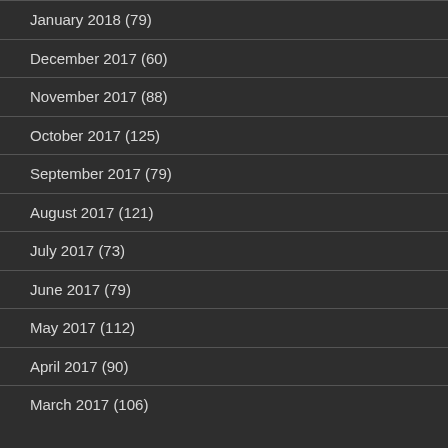January 2018 (79)
December 2017 (60)
November 2017 (88)
October 2017 (125)
September 2017 (79)
August 2017 (121)
July 2017 (73)
June 2017 (79)
May 2017 (112)
April 2017 (90)
March 2017 (106)